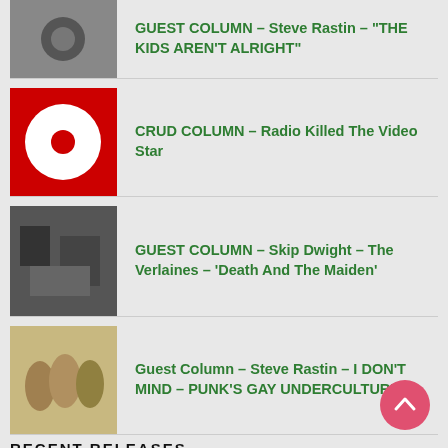GUEST COLUMN – Steve Rastin – "THE KIDS AREN'T ALRIGHT"
CRUD COLUMN – Radio Killed The Video Star
GUEST COLUMN – Skip Dwight – The Verlaines – 'Death And The Maiden'
Guest Column – Steve Rastin – I DON'T MIND – PUNK'S GAY UNDERCULTURE
GUEST COLUMN – Skip Dwight – Flesh D-Vice – 'Kill That Girl'
RECENT RELEASES
NEW RELEASE – Magic Bullet – Cruditas